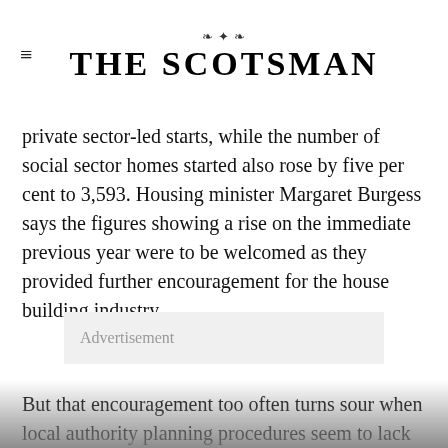THE SCOTSMAN
private sector-led starts, while the number of social sector homes started also rose by five per cent to 3,593. Housing minister Margaret Burgess says the figures showing a rise on the immediate previous year were to be welcomed as they provided further encouragement for the house building industry.
Advertisement
But that encouragement too often turns sour when local authority planning procedures seem to lack the urgency and the sense of shared mission that our housing situation